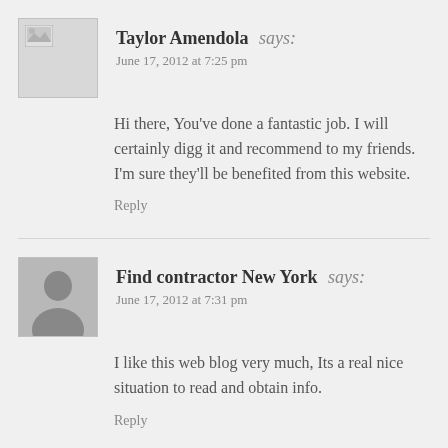Taylor Amendola says:
June 17, 2012 at 7:25 pm
Hi there, You've done a fantastic job. I will certainly digg it and recommend to my friends. I'm sure they'll be benefited from this website.
Reply
Find contractor New York says:
June 17, 2012 at 7:31 pm
I like this web blog very much, Its a real nice situation to read and obtain info.
Reply
Danial Leng says:
June 17, 2012 at 7:42 pm